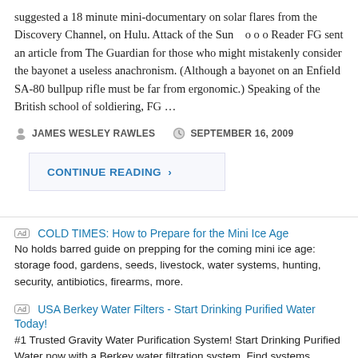suggested a 18 minute mini-documentary on solar flares from the Discovery Channel, on Hulu. Attack of the Sun   o o o Reader FG sent an article from The Guardian for those who might mistakenly consider the bayonet a useless anachronism. (Although a bayonet on an Enfield SA-80 bullpup rifle must be far from ergonomic.) Speaking of the British school of soldiering, FG …
JAMES WESLEY RAWLES   SEPTEMBER 16, 2009
CONTINUE READING ›
COLD TIMES: How to Prepare for the Mini Ice Age
No holds barred guide on prepping for the coming mini ice age: storage food, gardens, seeds, livestock, water systems, hunting, security, antibiotics, firearms, more.
USA Berkey Water Filters - Start Drinking Purified Water Today!
#1 Trusted Gravity Water Purification System! Start Drinking Purified Water now with a Berkey water filtration system. Find systems, replacement filters, parts and more here.